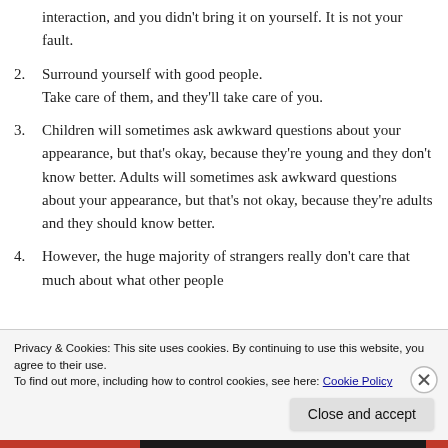interaction, and you didn't bring it on yourself. It is not your fault.
2. Surround yourself with good people. Take care of them, and they'll take care of you.
3. Children will sometimes ask awkward questions about your appearance, but that's okay, because they're young and they don't know better. Adults will sometimes ask awkward questions about your appearance, but that's not okay, because they're adults and they should know better.
4. However, the huge majority of strangers really don't care that much about what other people
Privacy & Cookies: This site uses cookies. By continuing to use this website, you agree to their use.
To find out more, including how to control cookies, see here: Cookie Policy
Close and accept